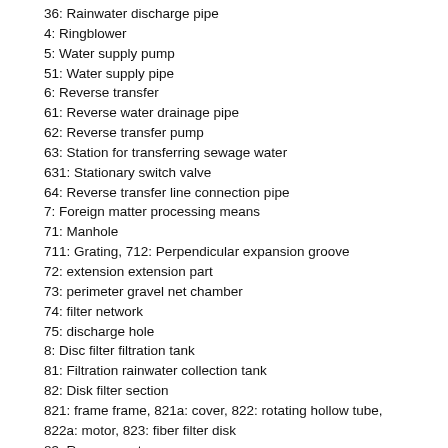36: Rainwater discharge pipe
4: Ringblower
5: Water supply pump
51: Water supply pipe
6: Reverse transfer
61: Reverse water drainage pipe
62: Reverse transfer pump
63: Station for transferring sewage water
631: Stationary switch valve
64: Reverse transfer line connection pipe
7: Foreign matter processing means
71: Manhole
711: Grating, 712: Perpendicular expansion groove
72: extension extension part
73: perimeter gravel net chamber
74: filter network
75: discharge hole
8: Disc filter filtration tank
81: Filtration rainwater collection tank
82: Disk filter section
821: frame frame, 821a: cover, 822: rotating hollow tube,
822a: motor, 823: fiber filter disk
83: Reverse water pump